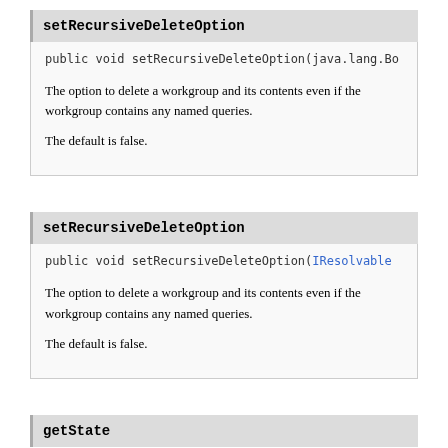setRecursiveDeleteOption
public void setRecursiveDeleteOption(java.lang.Bo
The option to delete a workgroup and its contents even if the workgroup contains any named queries.
The default is false.
setRecursiveDeleteOption
public void setRecursiveDeleteOption(IResolvable
The option to delete a workgroup and its contents even if the workgroup contains any named queries.
The default is false.
getState